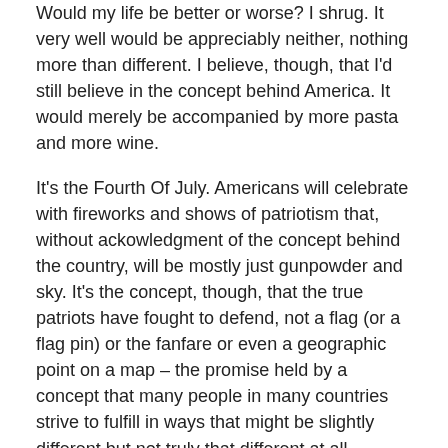Would my life be better or worse? I shrug. It very well would be appreciably neither, nothing more than different. I believe, though, that I'd still believe in the concept behind America. It would merely be accompanied by more pasta and more wine.
It's the Fourth Of July. Americans will celebrate with fireworks and shows of patriotism that, without ackowledgment of the concept behind the country, will be mostly just gunpowder and sky. It's the concept, though, that the true patriots have fought to defend, not a flag (or a flag pin) or the fanfare or even a geographic point on a map – the promise held by a concept that many people in many countries strive to fulfill in ways that might be slightly different but not truly that different at all.
Aimee Mann – 4th Of July
I actually had the opportunity to hear this song several